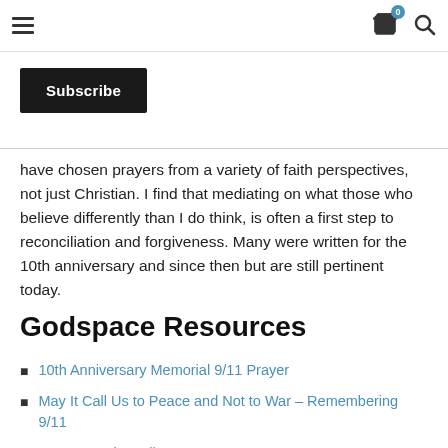Navigation header with hamburger menu, cart icon with badge 0, and search icon
Subscribe
have chosen prayers from a variety of faith perspectives, not just Christian. I find that mediating on what those who believe differently than I do think, is often a first step to reconciliation and forgiveness. Many were written for the 10th anniversary and since then but are still pertinent today.
Godspace Resources
10th Anniversary Memorial 9/11 Prayer
May It Call Us to Peace and Not to War – Remembering 9/11
Pope Francis' Call to Peace
Prayer for Peace